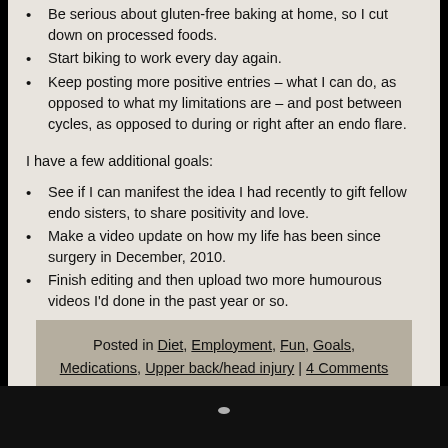Be serious about gluten-free baking at home, so I cut down on processed foods.
Start biking to work every day again.
Keep posting more positive entries – what I can do, as opposed to what my limitations are – and post between cycles, as opposed to during or right after an endo flare.
I have a few additional goals:
See if I can manifest the idea I had recently to gift fellow endo sisters, to share positivity and love.
Make a video update on how my life has been since surgery in December, 2010.
Finish editing and then upload two more humourous videos I'd done in the past year or so.
Posted in Diet, Employment, Fun, Goals, Medications, Upper back/head injury | 4 Comments »